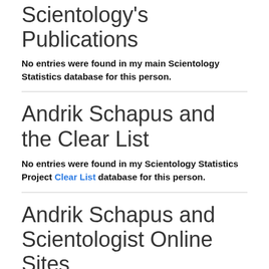Scientology's Publications
No entries were found in my main Scientology Statistics database for this person.
Andrik Schapus and the Clear List
No entries were found in my Scientology Statistics Project Clear List database for this person.
Andrik Schapus and Scientologist Online Sites
My database does not list a Scientologist Online cookie-cutter web site for this person.
Andrik Schapus and WISE